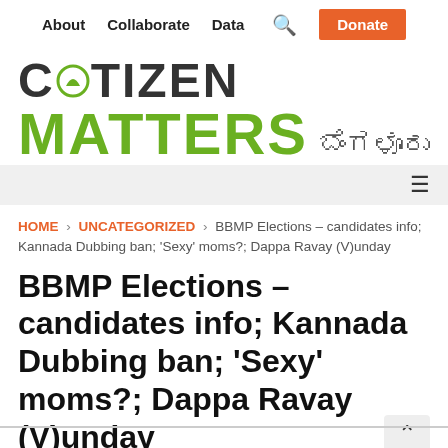About  Collaborate  Data  🔍  Donate
[Figure (logo): Citizen Matters Bengaluru logo with green leaf in CITIZEN and green MATTERS text, followed by Kannada script for Bengaluru]
≡ (hamburger menu)
HOME > UNCATEGORIZED > BBMP Elections – candidates info; Kannada Dubbing ban; 'Sexy' moms?; Dappa Ravay (V)unday
BBMP Elections – candidates info; Kannada Dubbing ban; 'Sexy' moms?; Dappa Ravay (V)unday
August 14, 2015   News Desk